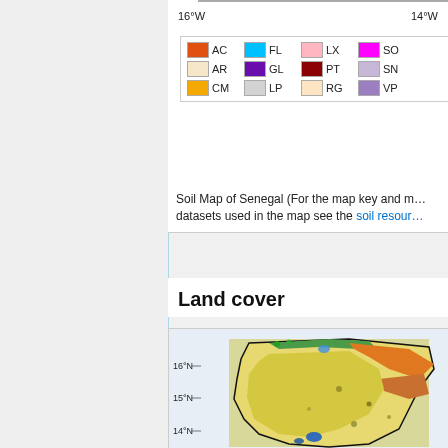[Figure (map): Top portion of Soil Map of Senegal showing coordinate axes (16°W, 14°W) and soil type legend with colored swatches: AC (orange), FL (cyan), LX (pink), SO (magenta), AR (beige), GL (purple), PT (dark red), SN (lavender), CM (amber), LP (light gray), RG (peach), VP (medium purple)]
Soil Map of Senegal (For the map key and more information on the datasets used in the map see the soil resour…
Land cover
[Figure (map): Partial Land Cover Map of Senegal showing latitude labels 16°N, 15°N, 14°N with colorful land cover classification (yellows, oranges, greens, blues) representing different land cover types across Senegal's territory]